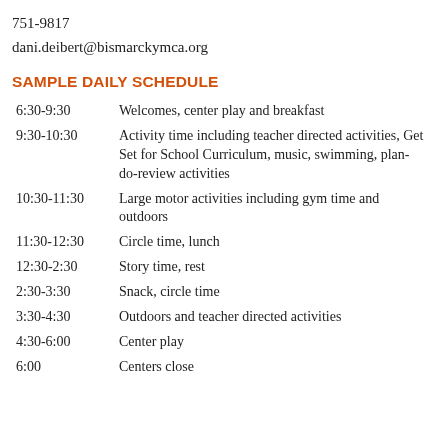751-9817
dani.deibert@bismarckymca.org
SAMPLE DAILY SCHEDULE
| Time | Activity |
| --- | --- |
| 6:30-9:30 | Welcomes, center play and breakfast |
| 9:30-10:30 | Activity time including teacher directed activities, Get Set for School Curriculum, music, swimming, plan-do-review activities |
| 10:30-11:30 | Large motor activities including gym time and outdoors |
| 11:30-12:30 | Circle time, lunch |
| 12:30-2:30 | Story time, rest |
| 2:30-3:30 | Snack, circle time |
| 3:30-4:30 | Outdoors and teacher directed activities |
| 4:30-6:00 | Center play |
| 6:00 | Centers close |